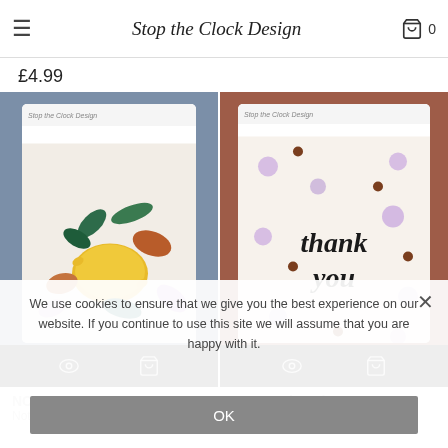Stop the Clock Design — navigation header with menu icon and cart (0)
£4.99
[Figure (photo): Product photo of a notecard pack with lemon/leaf pattern on blue background, shown in card sleeve with branding, with black action bar at bottom showing eye and cart icons]
[Figure (photo): Product photo of a 'thank you' notecard pack with floral pattern on terracotta background, shown in card sleeve with branding, with black action bar at bottom showing eye and cart icons]
NC03
Notecard Packs
Notecard Packs
£4.99
We use cookies to ensure that we give you the best experience on our website. If you continue to use this site we will assume that you are happy with it.
OK